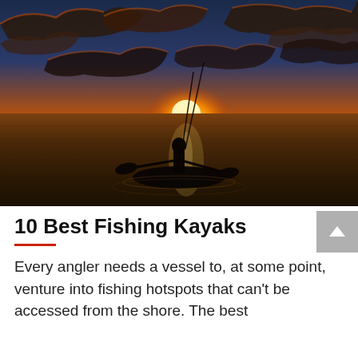[Figure (photo): Silhouette of a person in a fishing kayak on calm water at sunset, with dramatic orange and golden sky filled with clouds and the sun on the horizon.]
10 Best Fishing Kayaks
Every angler needs a vessel to, at some point, venture into fishing hotspots that can't be accessed from the shore. The best